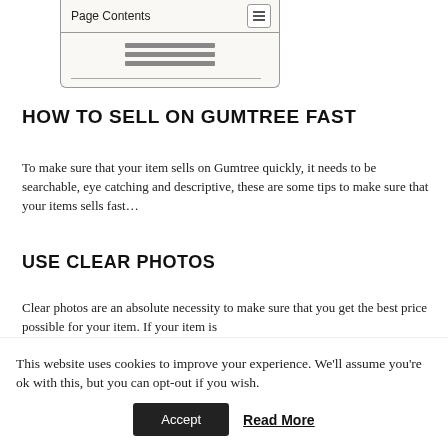[Figure (screenshot): Page Contents table of contents widget with hamburger menu icon and three horizontal lines representing collapsed content]
HOW TO SELL ON GUMTREE FAST
To make sure that your item sells on Gumtree quickly, it needs to be searchable, eye catching and descriptive, these are some tips to make sure that your items sells fast…
USE CLEAR PHOTOS
Clear photos are an absolute necessity to make sure that you get the best price possible for your item. If your item is
This website uses cookies to improve your experience. We'll assume you're ok with this, but you can opt-out if you wish.